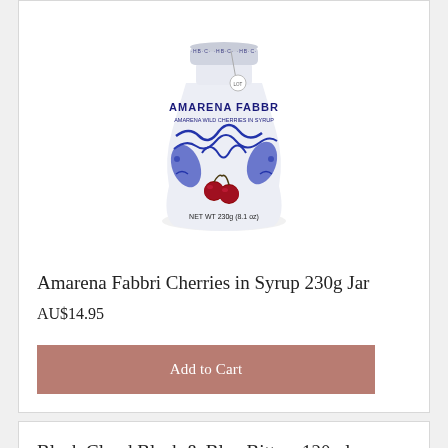[Figure (photo): Amarena Fabbri cherries in syrup 230g jar — white ceramic jar with blue floral decorative pattern, red cherries on the front label, metal lid with tag, NET WT 230g (8.1 oz) printed at bottom]
Amarena Fabbri Cherries in Syrup 230g Jar
AU$14.95
Add to Cart
Black Cloud Black & Blue Bitters 120ml